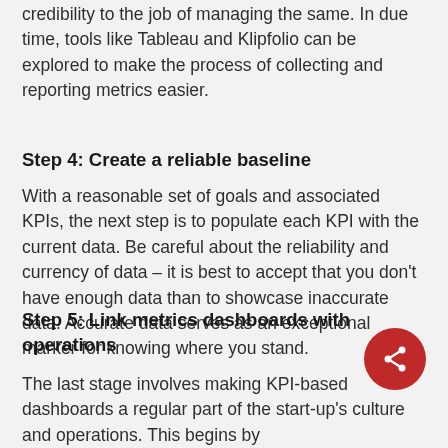credibility to the job of managing the same. In due time, tools like Tableau and Klipfolio can be explored to make the process of collecting and reporting metrics easier.
Step 4: Create a reliable baseline
With a reasonable set of goals and associated KPIs, the next step is to populate each KPI with the current data. Be careful about the reliability and currency of data – it is best to accept that you don't have enough data than to showcase inaccurate data. Accurate data serves as an exceptional marker for knowing where you stand.
Step 5: Link metrics dashboards with operations
The last stage involves making KPI-based dashboards a regular part of the start-up's culture and operations. This begins by